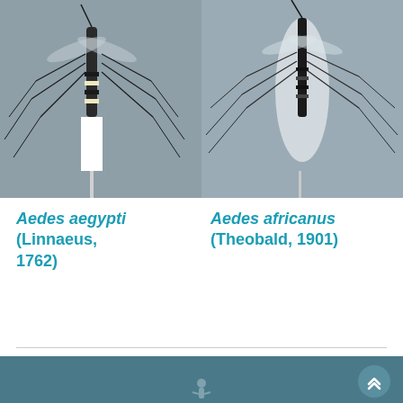[Figure (photo): Pinned museum specimen of Aedes aegypti mosquito photographed against gray background, showing full body with legs spread]
[Figure (photo): Pinned museum specimen of Aedes africanus mosquito photographed against gray background with white highlight, showing full body with legs spread]
Aedes aegypti (Linnaeus, 1762)
Aedes africanus (Theobald, 1901)
Home › SEARCH SPECIES PROFILES › ANOPHELES PHILIPPINENSIS LUDLOW, 1902